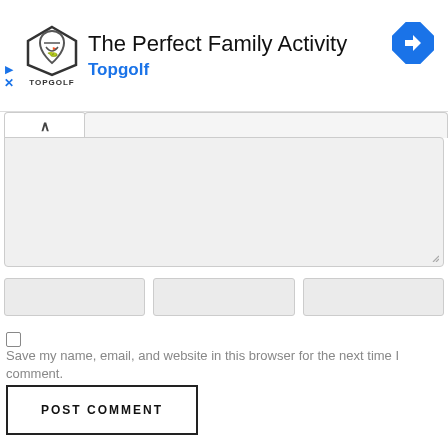[Figure (screenshot): Advertisement banner for Topgolf showing logo, title 'The Perfect Family Activity', brand name 'Topgolf' in blue, navigation arrow icon, play and close controls]
[Figure (screenshot): Web form UI: tab panel with chevron, large textarea with resize handle, three input fields, checkbox with label, and POST COMMENT button]
Save my name, email, and website in this browser for the next time I comment.
POST COMMENT